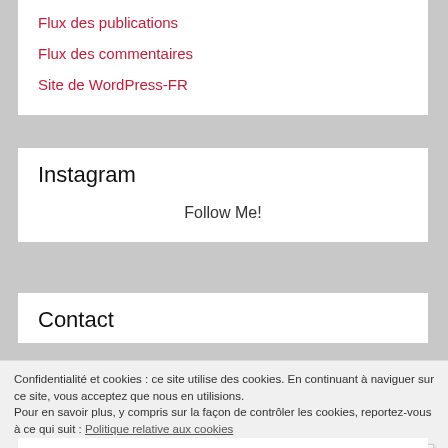Flux des publications
Flux des commentaires
Site de WordPress-FR
Instagram
Follow Me!
Contact
Confidentialité et cookies : ce site utilise des cookies. En continuant à naviguer sur ce site, vous acceptez que nous en utilisions. Pour en savoir plus, y compris sur la façon de contrôler les cookies, reportez-vous à ce qui suit : Politique relative aux cookies
Fermer et accepter